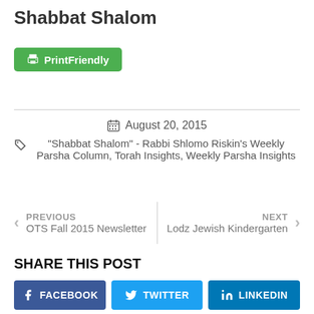Shabbat Shalom
PrintFriendly
August 20, 2015
"Shabbat Shalom" - Rabbi Shlomo Riskin's Weekly Parsha Column, Torah Insights, Weekly Parsha Insights
PREVIOUS OTS Fall 2015 Newsletter
NEXT Lodz Jewish Kindergarten
SHARE THIS POST
FACEBOOK
TWITTER
LINKEDIN